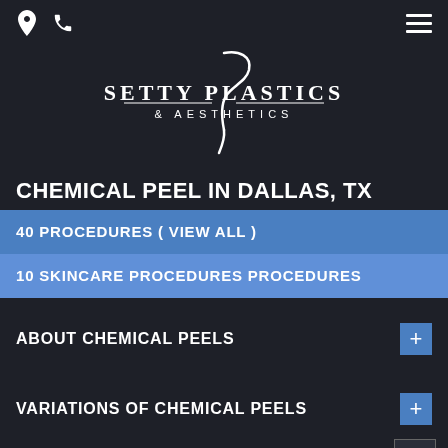Setty Plastics & Aesthetics — navigation header with location, phone, and menu icons
[Figure (logo): Setty Plastics & Aesthetics logo — stylized cursive swoosh above the text SETTY PLASTICS & AESTHETICS in white on dark background]
CHEMICAL PEEL IN DALLAS, TX
40 PROCEDURES ( VIEW ALL )
10 SKINCARE PROCEDURES PROCEDURES
ABOUT CHEMICAL PEELS
VARIATIONS OF CHEMICAL PEELS
CHEMICAL PEEL REVIEWS